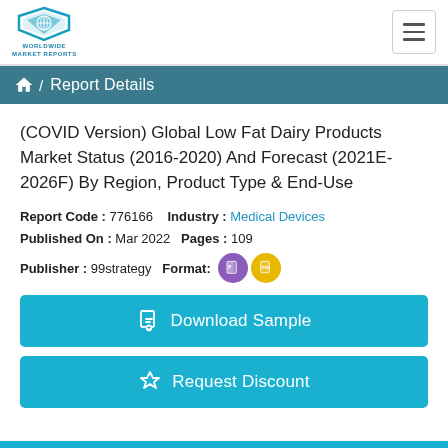[Figure (logo): Worldwide Market Reports logo — shield icon with globe and 'WORLDWIDE MARKET REPORTS' text]
Report Details
(COVID Version) Global Low Fat Dairy Products Market Status (2016-2020) And Forecast (2021E-2026F) By Region, Product Type & End-Use
Report Code : 776166    Industry : Medical Devices
Published On : Mar 2022   Pages : 109
Publisher : 99strategy   Format: [PPT icon] [PDF icon]
Download Sample
Request Discount